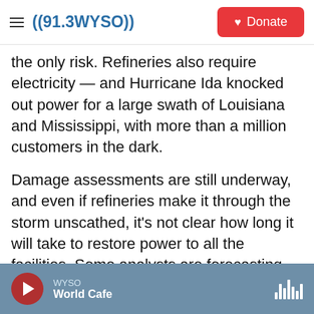((91.3 WYSO)) | Donate
the only risk. Refineries also require electricity — and Hurricane Ida knocked out power for a large swath of Louisiana and Mississippi, with more than a million customers in the dark.
Damage assessments are still underway, and even if refineries make it through the storm unscathed, it's not clear how long it will take to restore power to all the facilities. Some analysts are forecasting that it may take weeks, which could be a significant disruption to regional gasoline production.
The Environmental Protection Agency has issued a
WYSO | World Cafe